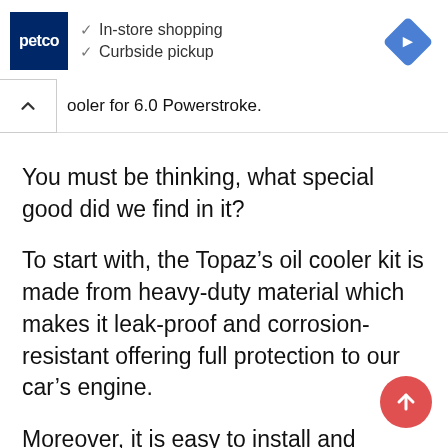[Figure (screenshot): Petco advertisement banner showing logo, In-store shopping and Curbside pickup checkmarks, and a blue navigation diamond icon]
ooler for 6.0 Powerstroke.
You must be thinking, what special good did we find in it?
To start with, the Topaz’s oil cooler kit is made from heavy-duty material which makes it leak-proof and corrosion-resistant offering full protection to our car’s engine.
Moreover, it is easy to install and efficient performance, as compared to most